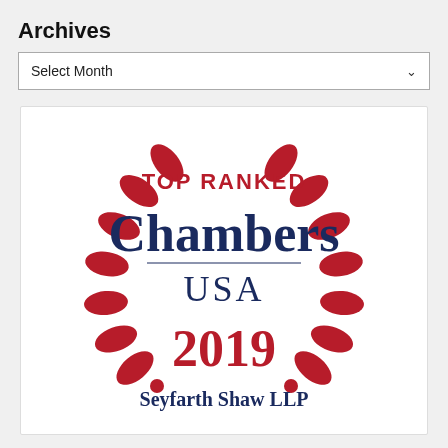Archives
Select Month
[Figure (logo): Chambers USA 2019 Top Ranked badge for Seyfarth Shaw LLP with laurel wreath decoration]